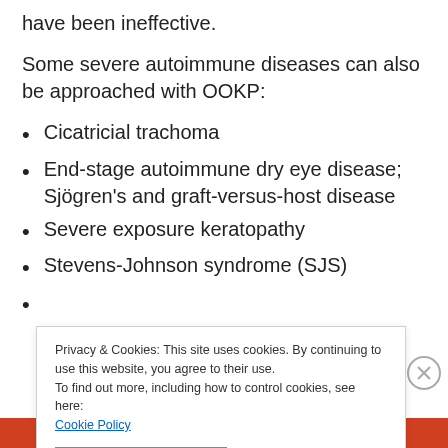have been ineffective.
Some severe autoimmune diseases can also be approached with OOKP:
Cicatricial trachoma
End-stage autoimmune dry eye disease; Sjögren's and graft-versus-host disease
Severe exposure keratopathy
Stevens-Johnson syndrome (SJS)
(partial, obscured by cookie banner)
Privacy & Cookies: This site uses cookies. By continuing to use this website, you agree to their use.
To find out more, including how to control cookies, see here: Cookie Policy
CLOSE AND ACCEPT